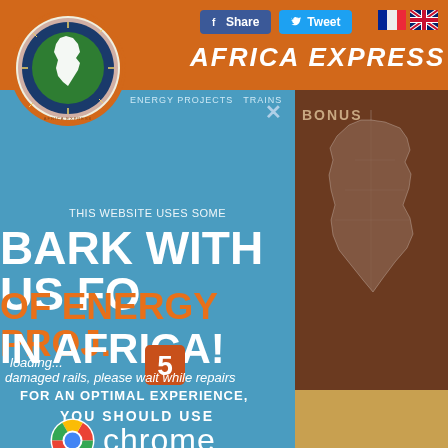[Figure (screenshot): Africa Express website screenshot showing orange header bar with site title 'AFRICA EXPRESS', social share/tweet buttons, French and UK flag icons, circular logo with Africa continent, blue left panel with large text 'BARK WITH US FO', 'OF ENERGY PROJ.', 'IN AFRICA!', overlay loading message 'loading...', warning text 'damaged rails, please wait while repairs', 'FOR AN OPTIMAL EXPERIENCE, YOU SHOULD USE', Chrome browser logo and text, and right brown panel with Africa map outline and 'BONUS' label.]